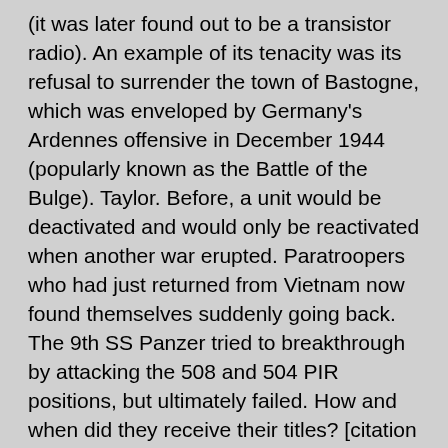(it was later found out to be a transistor radio). An example of its tenacity was its refusal to surrender the town of Bastogne, which was enveloped by Germany's Ardennes offensive in December 1944 (popularly known as the Battle of the Bulge). Taylor. Before, a unit would be deactivated and would only be reactivated when another war erupted. Paratroopers who had just returned from Vietnam now found themselves suddenly going back. The 9th SS Panzer tried to breakthrough by attacking the 508 and 504 PIR positions, but ultimately failed. How and when did they receive their titles? [citation needed], To commemorate the 1944 Waal assault river crossing made by the 504th Parachute Infantry Regiment and the 307th Engineer Battalion (Airborne) during Operation Market Garden, an annual Crossing of the Waal competition is staged on the anniversary of the operation at McKellar's Lake near Fort Bragg. The 82nd became part of the newly organized XVIII